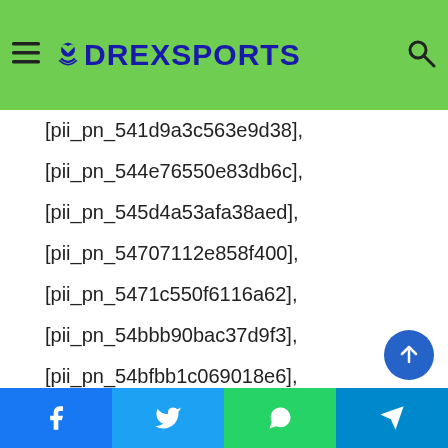DrexSports navigation header with logo and search icon
[pii_pn_541d9a3c563e9d38],
[pii_pn_544e76550e83db6c],
[pii_pn_545d4a53afa38aed],
[pii_pn_54707112e858f400],
[pii_pn_5471c550f6116a62],
[pii_pn_54bbb90bac37d9f3],
[pii_pn_54bfbb1c069018e6],
[pii_pn_54de65108baaa8ef0dea],
[pii_pn_54eca2fb019ac3c1],
[pii_pn_54f841b6a10eb006],
[pii_pn_553638747e901ec5],
[pii_pn_55460440687fd899],
[pii_pn_55660a6afacae450],
Facebook Twitter WhatsApp Telegram social share buttons